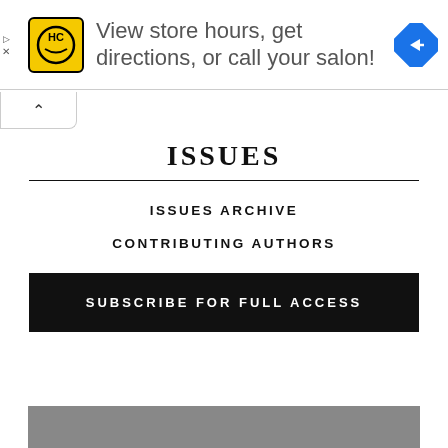[Figure (screenshot): Advertisement banner: HC logo (yellow square with HC text) and text 'View store hours, get directions, or call your salon!' with a blue navigation diamond icon on the right. Play and X icons on the far left.]
ISSUES
ISSUES ARCHIVE
CONTRIBUTING AUTHORS
SUBSCRIBE FOR FULL ACCESS
[Figure (photo): Bottom partial image strip, dark/gray tones.]